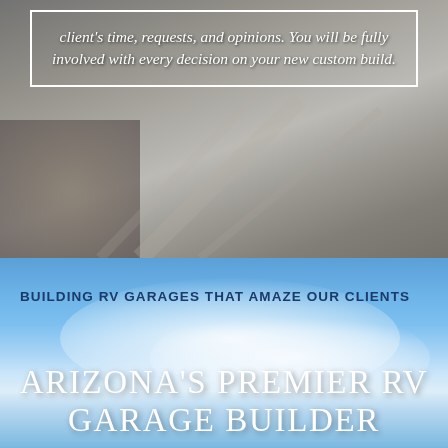[Figure (photo): Dark background with concrete/driveway surface and gravel, showing a text overlay box with white border containing italic white text about client involvement in custom builds.]
client's time, requests, and opinions. You will be fully involved with every decision on your new custom build.
[Figure (photo): Blue sky with white clouds background with text overlay showing subtitle and main title about Arizona's Premier RV Garage Builder.]
BUILDING RV GARAGES THAT AMAZE OUR CLIENTS
ARIZONA'S PREMIER RV GARAGE BUILDER